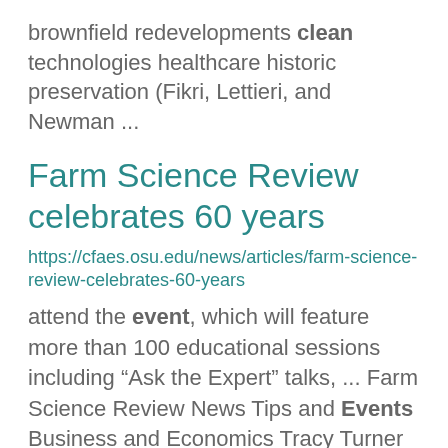brownfield redevelopments clean technologies healthcare historic preservation (Fikri, Lettieri, and Newman ...
Farm Science Review celebrates 60 years
https://cfaes.osu.edu/news/articles/farm-science-review-celebrates-60-years
attend the event, which will feature more than 100 educational sessions including “Ask the Expert” talks, ... Farm Science Review News Tips and Events Business and Economics Tracy Turner turner.490@osu.edu ...